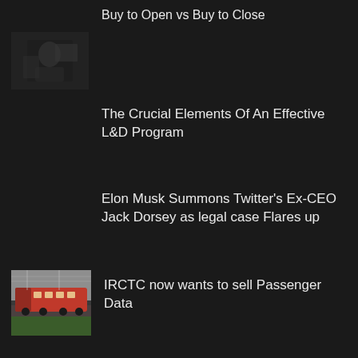[Figure (photo): Partial thumbnail image at top, partially cropped, dark tones]
Buy to Open vs Buy to Close
[Figure (photo): Dark image of a person, possibly trading/finance related, low light]
The Crucial Elements Of An Effective L&D Program
Elon Musk Summons Twitter's Ex-CEO Jack Dorsey as legal case Flares up
[Figure (photo): Red train/locomotive on railway tracks, green vegetation, overcast sky]
IRCTC now wants to sell Passenger Data